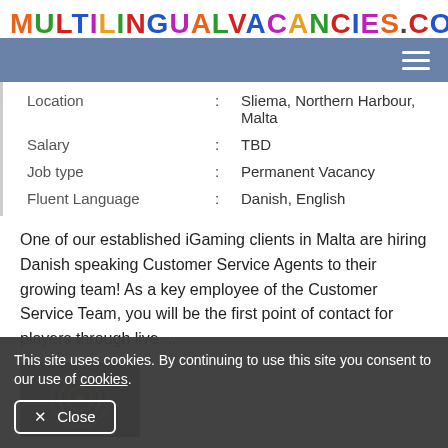MULTILINGUALVACANCIES.COM
| Location | : | Sliema, Northern Harbour, Malta |
| Salary | : | TBD |
| Job type | : | Permanent Vacancy |
| Fluent Language | : | Danish, English |
One of our established iGaming clients in Malta are hiring Danish speaking Customer Service Agents to their growing team! As a key employee of the Customer Service Team, you will be the first point of contact for players through live ...
[Figure (photo): Thumbnail image with circular logo/emblem on dark background]
This site uses cookies. By continuing to use this site you consent to our use of cookies.